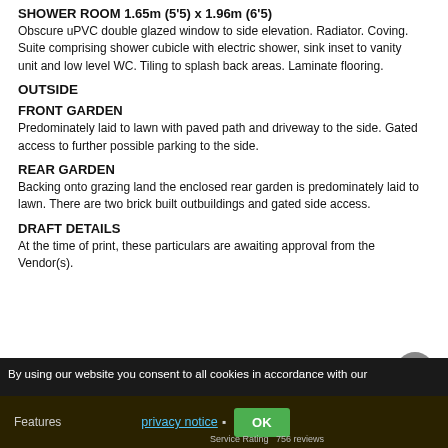SHOWER ROOM 1.65m (5'5) x 1.96m (6'5)
Obscure uPVC double glazed window to side elevation. Radiator. Coving. Suite comprising shower cubicle with electric shower, sink inset to vanity unit and low level WC. Tiling to splash back areas. Laminate flooring.
OUTSIDE
FRONT GARDEN
Predominately laid to lawn with paved path and driveway to the side. Gated access to further possible parking to the side.
REAR GARDEN
Backing onto grazing land the enclosed rear garden is predominately laid to lawn. There are two brick built outbuildings and gated side access.
DRAFT DETAILS
At the time of print, these particulars are awaiting approval from the Vendor(s).
By using our website you consent to all cookies in accordance with our privacy notice  OK
Features
Service Rating  756 reviews